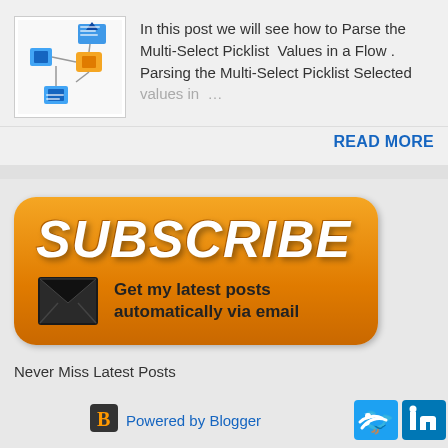[Figure (screenshot): Thumbnail showing a Salesforce Flow diagram with blue and orange components connected by arrows]
In this post we will see how to Parse the Multi-Select Picklist Values in a Flow . Parsing the Multi-Select Picklist Selected values in …
READ MORE
[Figure (infographic): Orange rounded rectangle subscribe button with SUBSCRIBE text in large white bold italic font, envelope mail icon, and text 'Get my latest posts automatically via email']
Never Miss Latest Posts
[Figure (logo): Blogger logo - orange B square icon]
Powered by Blogger
[Figure (logo): Twitter blue bird icon and LinkedIn blue icon social media buttons]